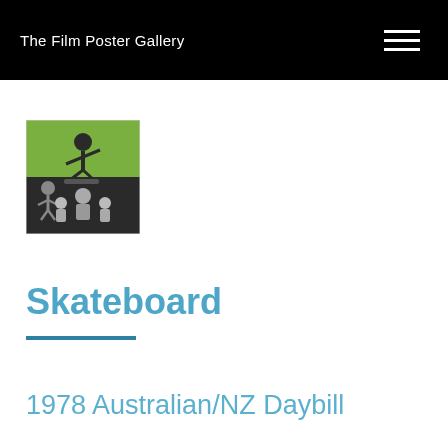The Film Poster Gallery
[Figure (photo): Film poster thumbnail for Skateboard (1978) showing skateboarders on a green and black background]
Skateboard
1978 Australian/NZ Daybill